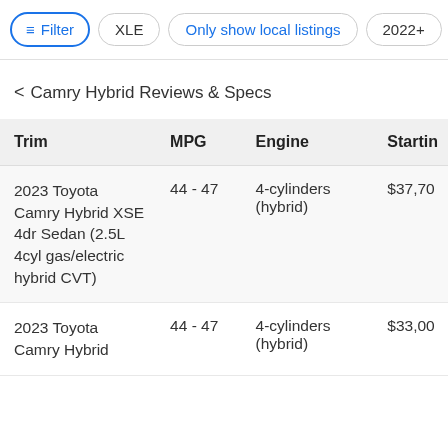Filter | XLE | Only show local listings | 2022+
< Camry Hybrid Reviews & Specs
| Trim | MPG | Engine | Starting |
| --- | --- | --- | --- |
| 2023 Toyota Camry Hybrid XSE 4dr Sedan (2.5L 4cyl gas/electric hybrid CVT) | 44 - 47 | 4-cylinders (hybrid) | $37,70 |
| 2023 Toyota Camry Hybrid | 44 - 47 | 4-cylinders (hybrid) | $33,00 |